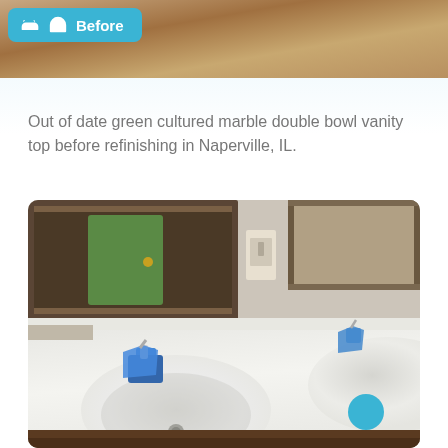[Figure (photo): Top portion of a before photo showing a vanity/countertop surface in warm beige/tan tones, partially cropped at the top of the page]
Out of date green cultured marble double bowl vanity top before refinishing in Naperville, IL.
[Figure (photo): Before photo of a double bowl white vanity countertop in a bathroom. Two sinks are visible with blue painter's tape/bags covering the faucet hardware. Two framed mirrors are reflected in the background showing a brown door. A light switch plate is visible on the wall. Dark wood cabinetry is visible below the white cultured marble countertop.]